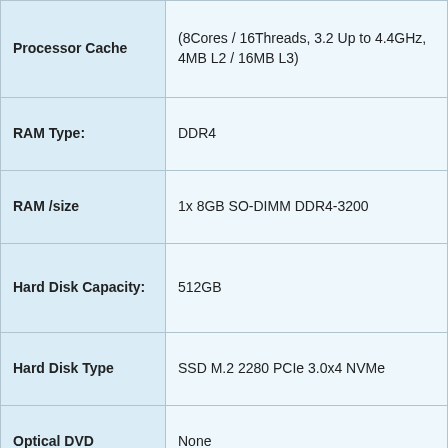| Attribute | Value |
| --- | --- |
| Processor Cache | (8Cores / 16Threads, 3.2 Up to 4.4GHz, 4MB L2 / 16MB L3) |
| RAM Type: | DDR4 |
| RAM /size | 1x 8GB SO-DIMM DDR4-3200 |
| Hard Disk Capacity: | 512GB |
| Hard Disk Type | SSD M.2 2280 PCIe 3.0x4 NVMe |
| Optical DVD | None |
| Graphic Card | NVIDIA GeForce RTX 3060 6GB GDDR6, Boost Clock 1282/1485MHz, TGP 90W |